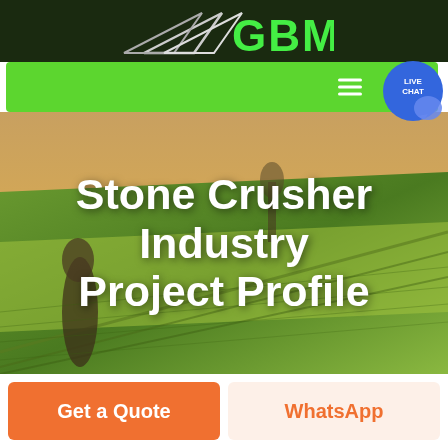[Figure (logo): GBM company logo with white arrow/triangle graphic and bright green bold GBM text on dark green background]
[Figure (screenshot): Green navigation bar with hamburger menu icon and live chat bubble button (blue circle with LIVE CHAT text and chat bubble icon)]
[Figure (photo): Aerial photo of a green rolling agricultural field with shadows and a tree, used as hero background]
Stone Crusher Industry Project Profile
Get a Quote
WhatsApp